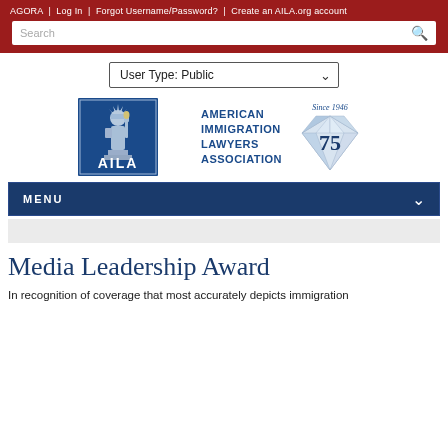AGORA | Log In | Forgot Username/Password? | Create an AILA.org account
[Figure (logo): AILA - American Immigration Lawyers Association logo with Statue of Liberty icon and 'Since 1946 - 75' diamond anniversary logo]
User Type: Public
MENU
Media Leadership Award
In recognition of coverage that most accurately depicts immigration